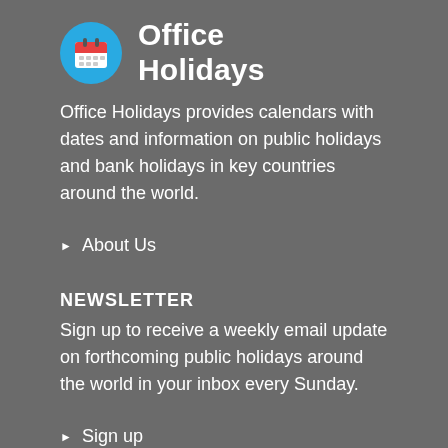Office Holidays
Office Holidays provides calendars with dates and information on public holidays and bank holidays in key countries around the world.
About Us
NEWSLETTER
Sign up to receive a weekly email update on forthcoming public holidays around the world in your inbox every Sunday.
Sign up
USEFUL LINKS
Holiday Definitions
There is a Day for That!